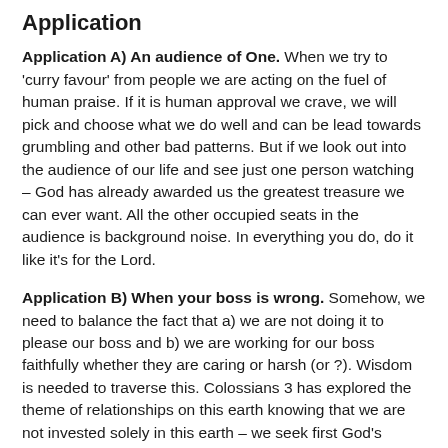Application
Application A) An audience of One. When we try to 'curry favour' from people we are acting on the fuel of human praise. If it is human approval we crave, we will pick and choose what we do well and can be lead towards grumbling and other bad patterns. But if we look out into the audience of our life and see just one person watching – God has already awarded us the greatest treasure we can ever want. All the other occupied seats in the audience is background noise. In everything you do, do it like it's for the Lord.
Application B) When your boss is wrong. Somehow, we need to balance the fact that a) we are not doing it to please our boss and b) we are working for our boss faithfully whether they are caring or harsh (or ?). Wisdom is needed to traverse this. Colossians 3 has explored the theme of relationships on this earth knowing that we are not invested solely in this earth – we seek first God's Kingdom – receiving an inheritance from the Lord. The relationship we have with bosses is important. If